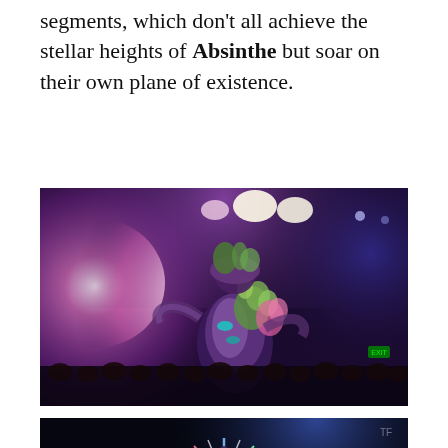segments, which don't all achieve the stellar heights of Absinthe but soar on their own plane of existence.
[Figure (photo): A performer in an elaborate costume with green and colorful decorative elements stands on stage under bright pink and purple stage lighting, with an audience visible in the background.]
[Figure (photo): A performer on a dark stage with blue lighting, surrounded by a starburst prop or costume element with radiating spikes, lit from below.]